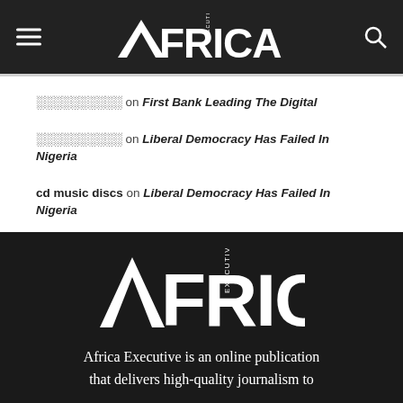AFRICA EXECUTIVE
░░░░░░░░░░ on First Bank Leading The Digital
░░░░░░░░░░ on Liberal Democracy Has Failed In Nigeria
cd music discs on Liberal Democracy Has Failed In Nigeria
[Figure (logo): Africa Executive logo in white on dark background]
Africa Executive is an online publication that delivers high-quality journalism to